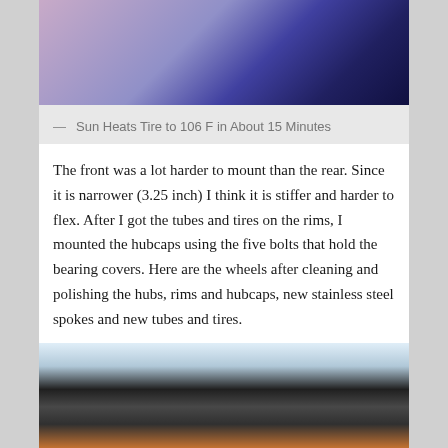[Figure (photo): Close-up photo of a tire being heated in sunlight, showing purple/blue tinted image of hands holding tire]
— Sun Heats Tire to 106 F in About 15 Minutes
The front was a lot harder to mount than the rear. Since it is narrower (3.25 inch) I think it is stiffer and harder to flex. After I got the tubes and tires on the rims, I mounted the hubcaps using the five bolts that hold the bearing covers. Here are the wheels after cleaning and polishing the hubs, rims and hubcaps, new stainless steel spokes and new tubes and tires.
[Figure (photo): Photo of a tire/wheel on a workbench with various items in the background]